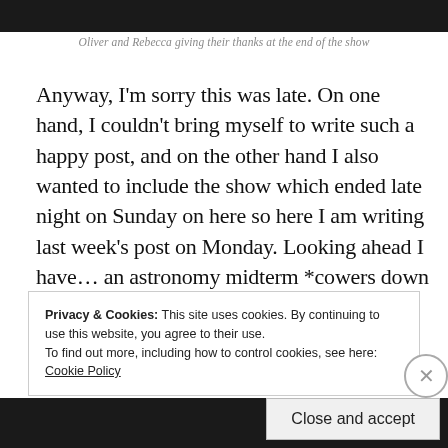[Figure (photo): Dark photo strip at top of page showing Oliver and Rebecca on stage]
Oliver and Rebecca giving their thanks at the end of the show
Anyway, I'm sorry this was late. On one hand, I couldn't bring myself to write such a happy post, and on the other hand I also wanted to include the show which ended late night on Sunday on here so here I am writing last week's post on Monday. Looking ahead I have… an astronomy midterm *cowers down in agony* so I really need to get back
Privacy & Cookies: This site uses cookies. By continuing to use this website, you agree to their use.
To find out more, including how to control cookies, see here: Cookie Policy
Close and accept